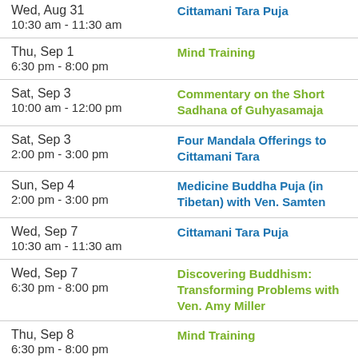| Date/Time | Event |
| --- | --- |
| Wed, Aug 31
10:30 am - 11:30 am | Cittamani Tara Puja |
| Thu, Sep 1
6:30 pm - 8:00 pm | Mind Training |
| Sat, Sep 3
10:00 am - 12:00 pm | Commentary on the Short Sadhana of Guhyasamaja |
| Sat, Sep 3
2:00 pm - 3:00 pm | Four Mandala Offerings to Cittamani Tara |
| Sun, Sep 4
2:00 pm - 3:00 pm | Medicine Buddha Puja (in Tibetan) with Ven. Samten |
| Wed, Sep 7
10:30 am - 11:30 am | Cittamani Tara Puja |
| Wed, Sep 7
6:30 pm - 8:00 pm | Discovering Buddhism: Transforming Problems with Ven. Amy Miller |
| Thu, Sep 8
6:30 pm - 8:00 pm | Mind Training |
| Sat, Sep 10
1:00 pm - 4:00 pm | Discovering Buddhism: All About Karma with Ven. Amy Miller |